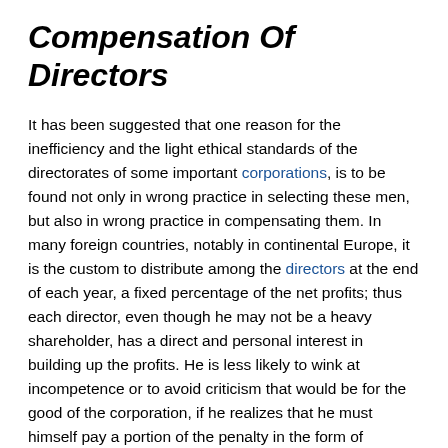Compensation Of Directors
It has been suggested that one reason for the inefficiency and the light ethical standards of the directorates of some important corporations, is to be found not only in wrong practice in selecting these men, but also in wrong practice in compensating them. In many foreign countries, notably in continental Europe, it is the custom to distribute among the directors at the end of each year, a fixed percentage of the net profits; thus each director, even though he may not be a heavy shareholder, has a direct and personal interest in building up the profits. He is less likely to wink at incompetence or to avoid criticism that would be for the good of the corporation, if he realizes that he must himself pay a portion of the penalty in the form of reduced compensation. Paul Warburg, formerly of the firm of Kuhn, Loeb and Company, has expressed his belief that in this country we should follow the European plan of paying directors in proportion to the dividends they can earn. One important gain in this plan is that it becomes easier to secure as directors men who may themselves have only a small shareholding interest in the corporation; the range of choice is widened. As matters